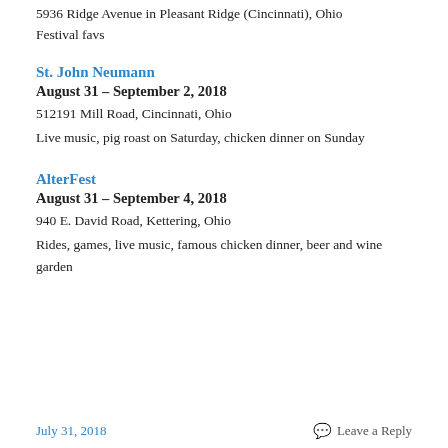5936 Ridge Avenue in Pleasant Ridge (Cincinnati), Ohio
Festival favs
St. John Neumann
August 31 – September 2, 2018
512191 Mill Road, Cincinnati, Ohio
Live music, pig roast on Saturday, chicken dinner on Sunday
AlterFest
August 31 – September 4, 2018
940 E. David Road, Kettering, Ohio
Rides, games, live music, famous chicken dinner, beer and wine garden
July 31, 2018    Leave a Reply